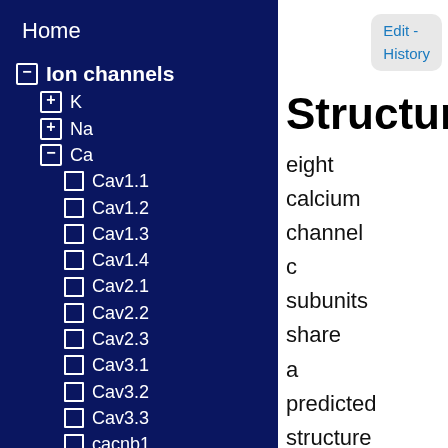Home
Ion channels
K
Na
Ca
Cav1.1
Cav1.2
Cav1.3
Cav1.4
Cav2.1
Cav2.2
Cav2.3
Cav3.1
Cav3.2
Cav3.3
cacnb1
Edit - History
Structur
eight calcium channel c subunits share a predicted structure that includes four transmembrane domains